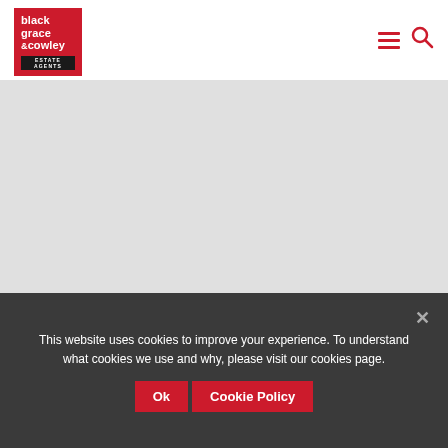[Figure (logo): Black Grace Cowley Estate Agents logo — red square with white bold text 'black grace cowley' and a dark bar reading 'ESTATE AGENTS']
[Figure (other): Hamburger menu icon (three red horizontal lines) and red search/magnifying glass icon in the top-right navigation area]
[Figure (other): Light grey blank content area below the header]
This website uses cookies to improve your experience. To understand what cookies we use and why, please visit our cookies page.
Ok  Cookie Policy